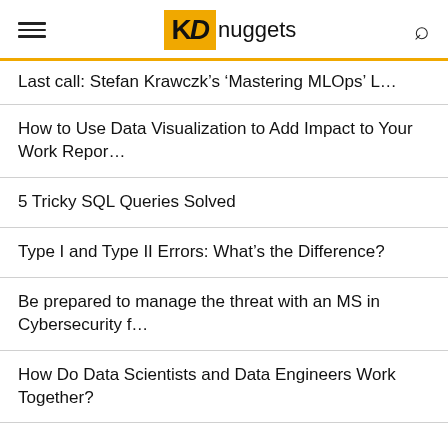KD nuggets
Last call: Stefan Krawczk's 'Mastering MLOps' L…
How to Use Data Visualization to Add Impact to Your Work Repor…
5 Tricky SQL Queries Solved
Type I and Type II Errors: What's the Difference?
Be prepared to manage the threat with an MS in Cybersecurity f…
How Do Data Scientists and Data Engineers Work Together?